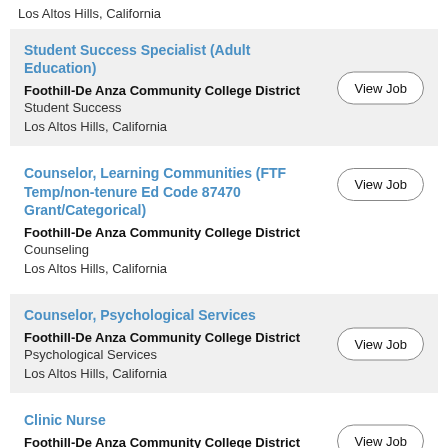Los Altos Hills, California
Student Success Specialist (Adult Education) | Foothill-De Anza Community College District | Student Success | Los Altos Hills, California
Counselor, Learning Communities (FTF Temp/non-tenure Ed Code 87470 Grant/Categorical) | Foothill-De Anza Community College District | Counseling | Los Altos Hills, California
Counselor, Psychological Services | Foothill-De Anza Community College District | Psychological Services | Los Altos Hills, California
Clinic Nurse | Foothill-De Anza Community College District | Nursing